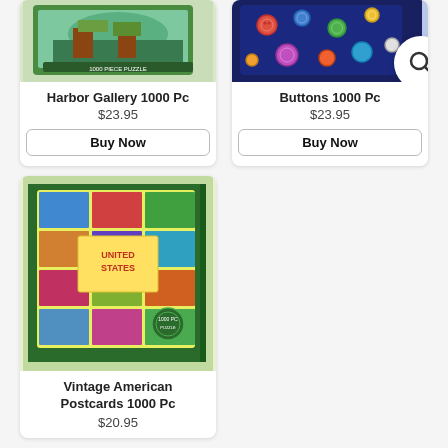[Figure (photo): Puzzle box for Harbor Gallery 1000 Pc - top of box partially visible]
Harbor Gallery 1000 Pc
$23.95
Buy Now
[Figure (photo): Puzzle box for Buttons 1000 Pc - top of box partially visible, with search icon overlay]
Buttons 1000 Pc
$23.95
Buy Now
[Figure (photo): Puzzle box for Vintage American Postcards 1000 Pc - colorful box showing vintage US postcard collage]
Vintage American Postcards 1000 Pc
$20.95